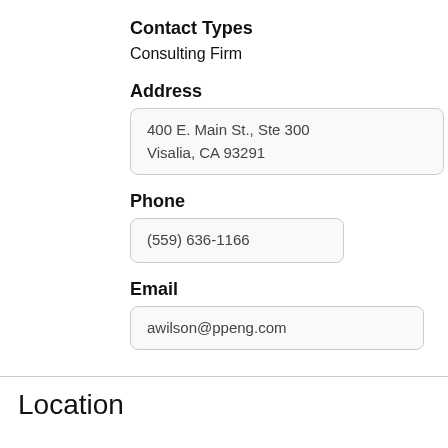Contact Types
Consulting Firm
Address
400 E. Main St., Ste 300
Visalia, CA 93291
Phone
(559) 636-1166
Email
awilson@ppeng.com
Location